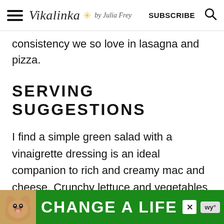Vikalinka ✳ by Julia Frey | SUBSCRIBE
consistency we so love in lasagna and pizza.
SERVING SUGGESTIONS
I find a simple green salad with a vinaigrette dressing is an ideal companion to rich and creamy mac and cheese. Crunchy lettuce and vegetables in acidic dressing will give a perfect balance to the ch…
[Figure (photo): Advertisement banner with dog image and text 'CHANGE A LIFE' on green background]